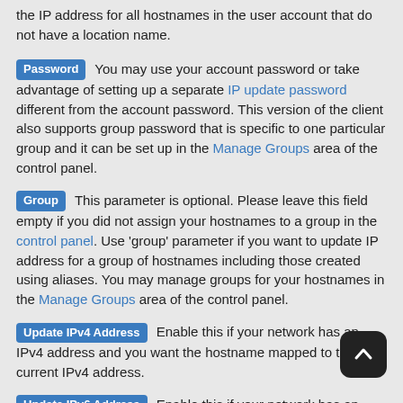the IP address for all hostnames in the user account that do not have a location name.
Password  You may use your account password or take advantage of setting up a separate IP update password different from the account password. This version of the client also supports group password that is specific to one particular group and it can be set up in the Manage Groups area of the control panel.
Group  This parameter is optional. Please leave this field empty if you did not assign your hostnames to a group in the control panel. Use 'group' parameter if you want to update IP address for a group of hostnames including those created using aliases. You may manage groups for your hostnames in the Manage Groups area of the control panel.
Update IPv4 Address  Enable this if your network has an IPv4 address and you want the hostname mapped to the current IPv4 address.
Update IPv6 Address  Enable this if your network has an IPv6 address and you want the hostname mapped to the latest